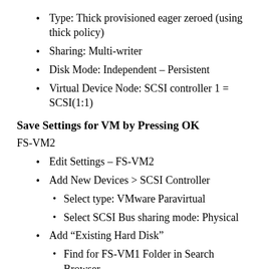Type: Thick provisioned eager zeroed (using thick policy)
Sharing: Multi-writer
Disk Mode: Independent – Persistent
Virtual Device Node: SCSI controller 1 = SCSI(1:1)
Save Settings for VM by Pressing OK
FS-VM2
Edit Settings – FS-VM2
Add New Devices > SCSI Controller
Select type: VMware Paravirtual
Select SCSI Bus sharing mode: Physical
Add “Existing Hard Disk”
Find for FS-VM1 Folder in Search Browser
Select 70 GB .vmdk
Sharing: Multi-writer